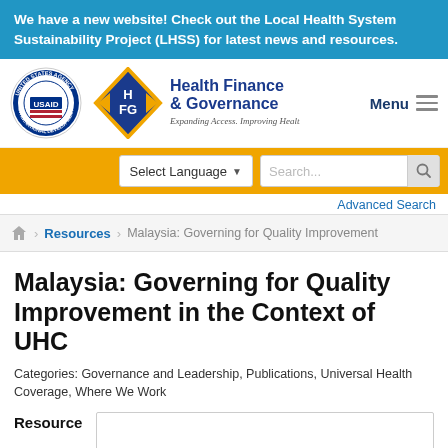We have a new website! Check out the Local Health System Sustainability Project (LHSS) for latest news and resources.
[Figure (logo): USAID United States Agency for International Development circular seal and HFG Health Finance & Governance logo with tagline Expanding Access. Improving Health.]
Menu
Select Language
Advanced Search
Resources   Malaysia: Governing for Quality Improvement
Malaysia: Governing for Quality Improvement in the Context of UHC
Categories: Governance and Leadership, Publications, Universal Health Coverage, Where We Work
Resource